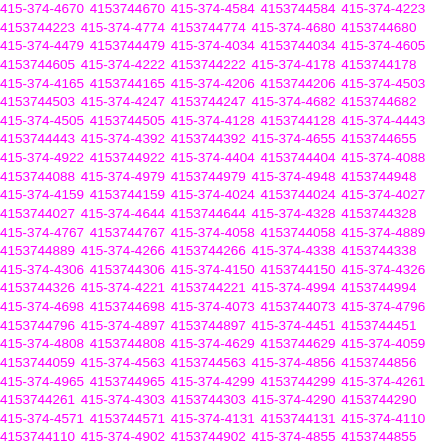415-374-4670 4153744670 415-374-4584 4153744584 415-374-4223 4153744223 415-374-4774 4153744774 415-374-4680 4153744680 415-374-4479 4153744479 415-374-4034 4153744034 415-374-4605 4153744605 415-374-4222 4153744222 415-374-4178 4153744178 415-374-4165 4153744165 415-374-4206 4153744206 415-374-4503 4153744503 415-374-4247 4153744247 415-374-4682 4153744682 415-374-4505 4153744505 415-374-4128 4153744128 415-374-4443 4153744443 415-374-4392 4153744392 415-374-4655 4153744655 415-374-4922 4153744922 415-374-4404 4153744404 415-374-4088 4153744088 415-374-4979 4153744979 415-374-4948 4153744948 415-374-4159 4153744159 415-374-4024 4153744024 415-374-4027 4153744027 415-374-4644 4153744644 415-374-4328 4153744328 415-374-4767 4153744767 415-374-4058 4153744058 415-374-4889 4153744889 415-374-4266 4153744266 415-374-4338 4153744338 415-374-4306 4153744306 415-374-4150 4153744150 415-374-4326 4153744326 415-374-4221 4153744221 415-374-4994 4153744994 415-374-4698 4153744698 415-374-4073 4153744073 415-374-4796 4153744796 415-374-4897 4153744897 415-374-4451 4153744451 415-374-4808 4153744808 415-374-4629 4153744629 415-374-4059 4153744059 415-374-4563 4153744563 415-374-4856 4153744856 415-374-4965 4153744965 415-374-4299 4153744299 415-374-4261 4153744261 415-374-4303 4153744303 415-374-4290 4153744290 415-374-4571 4153744571 415-374-4131 4153744131 415-374-4110 4153744110 415-374-4902 4153744902 415-374-4855 4153744855 415-374-4659 4153744659 415-374-4819 4153744819 415-374-4